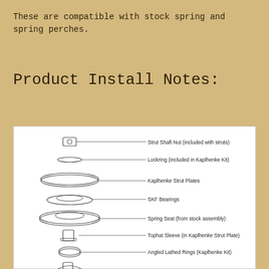These are compatible with stock spring and spring perches.
Product Install Notes:
[Figure (engineering-diagram): Exploded diagram of strut assembly components including: Strut Shaft Nut (included with struts), Lockring (included in Kaplhenke Kit), Kaplhenke Strut Plates, SKF Bearings, Spring Seat (from stock assembly), Tophat Sleeve (in Kaplhenke Strut Plate), Angled Lathed Rings (Kaplhenke Kit), and a bottom strut component.]